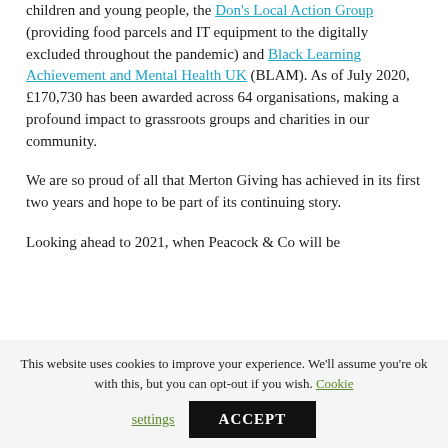children and young people, the Don's Local Action Group (providing food parcels and IT equipment to the digitally excluded throughout the pandemic) and Black Learning Achievement and Mental Health UK (BLAM). As of July 2020, £170,730 has been awarded across 64 organisations, making a profound impact to grassroots groups and charities in our community.
We are so proud of all that Merton Giving has achieved in its first two years and hope to be part of its continuing story.
Looking ahead to 2021, when Peacock & Co will be
This website uses cookies to improve your experience. We'll assume you're ok with this, but you can opt-out if you wish. Cookie settings ACCEPT